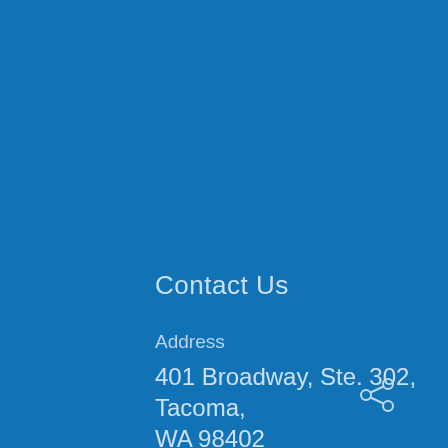Contact Us
Address
401 Broadway, Ste. 302, Tacoma, WA 98402
Phone
(206) 829-2440
Fax
(206) 357-9355
[Figure (illustration): Share icon (network share symbol) in light color on blue background, bottom right area]